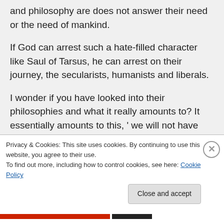and philosophy are does not answer their need or the need of mankind.
If God can arrest such a hate-filled character like Saul of Tarsus, he can arrest on their journey, the secularists, humanists and liberals.
I wonder if you have looked into their philosophies and what it really amounts to? It essentially amounts to this, ' we will not have Him rule over us'
Privacy & Cookies: This site uses cookies. By continuing to use this website, you agree to their use.
To find out more, including how to control cookies, see here: Cookie Policy
Close and accept